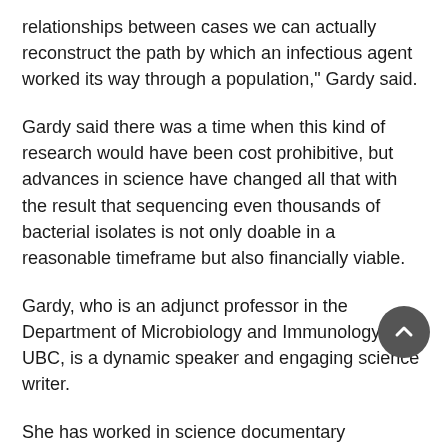relationships between cases we can actually reconstruct the path by which an infectious agent worked its way through a population," Gardy said.
Gardy said there was a time when this kind of research would have been cost prohibitive, but advances in science have changed all that with the result that sequencing even thousands of bacterial isolates is not only doable in a reasonable timeframe but also financially viable.
Gardy, who is an adjunct professor in the Department of Microbiology and Immunology at UBC, is a dynamic speaker and engaging science writer.
She has worked in science documentary television, including appearances on Discovery Channel’s nightly science news magazine Daily Planet, and had several stints